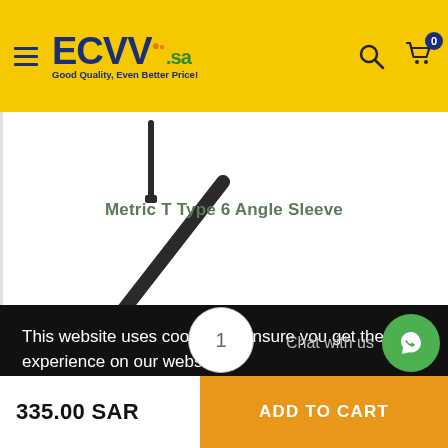ECVV.sa — Good Quality, Even Better Price!
[Figure (photo): Product image of a Metric T Type 6 Angle Sleeve hex key/allen wrench tool shown vertically and diagonally on white background]
Metric T Type 6 Angle Sleeve
This website uses cookies to ensure you get the best experience on our website.
Learn more
1
Chat with us
335.00 SAR
ADD TO CART